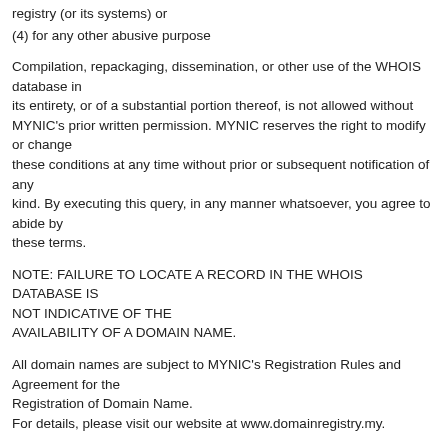registry (or its systems) or
(4) for any other abusive purpose
Compilation, repackaging, dissemination, or other use of the WHOIS database in its entirety, or of a substantial portion thereof, is not allowed without MYNIC's prior written permission. MYNIC reserves the right to modify or change these conditions at any time without prior or subsequent notification of any kind. By executing this query, in any manner whatsoever, you agree to abide by these terms.
NOTE: FAILURE TO LOCATE A RECORD IN THE WHOIS DATABASE IS NOT INDICATIVE OF THE AVAILABILITY OF A DOMAIN NAME.
All domain names are subject to MYNIC's Registration Rules and Agreement for the Registration of Domain Name. For details, please visit our website at www.domainregistry.my.